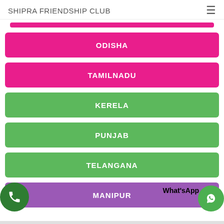SHIPRA FRIENDSHIP CLUB
ODISHA
TAMILNADU
KERELA
PUNJAB
TELANGANA
MANIPUR
What'sApp